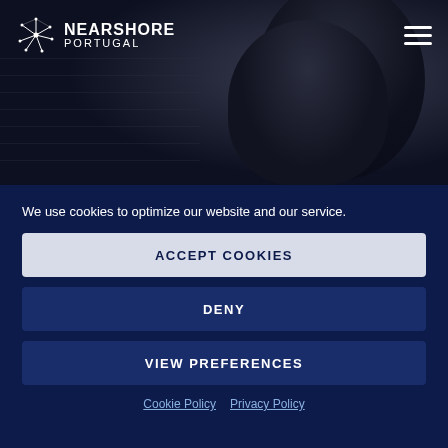[Figure (logo): Nearshore Portugal logo with star/network icon and white text]
[Figure (screenshot): Dark background navigation area with hamburger menu icon on the right]
[Figure (photo): Dark silhouette photo background, person visible in upper right]
We use cookies to optimize our website and our service.
ACCEPT COOKIES
DENY
VIEW PREFERENCES
Cookie Policy   Privacy Policy